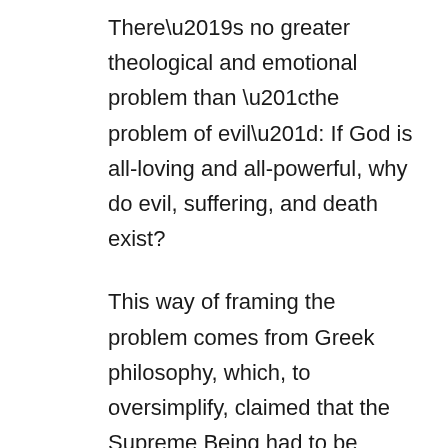There’s no greater theological and emotional problem than “the problem of evil”: If God is all-loving and all-powerful, why do evil, suffering, and death exist?
This way of framing the problem comes from Greek philosophy, which, to oversimplify, claimed that the Supreme Being had to be omniscient, omnipresent, omnipotent, and impassible (incapable of suffering).
Here’s what I think:
God is everywhere present, but not in a way that cancels the very real presence of other